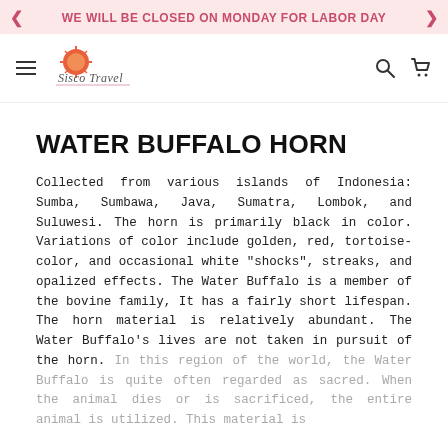WE WILL BE CLOSED ON MONDAY FOR LABOR DAY
[Figure (logo): Sisco Travel logo with sun/globe icon and cursive text]
WATER BUFFALO HORN
Collected from various islands of Indonesia: Sumba, Sumbawa, Java, Sumatra, Lombok, and Suluwesi. The horn is primarily black in color. Variations of color include golden, red, tortoise-color, and occasional white "shocks", streaks, and opalized effects. The Water Buffalo is a member of the bovine family, It has a fairly short lifespan. The horn material is relatively abundant. The Water Buffalo's lives are not taken in pursuit of the horn. In this region of the world, the Water Buffalo is quite often regarded as sacred. When the animal dies or is sacrificed, the entire animal is utilized. This material is